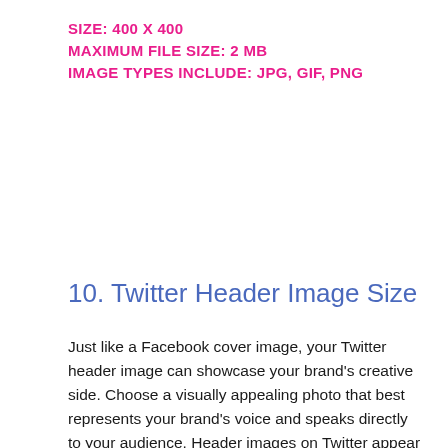SIZE: 400 X 400
MAXIMUM FILE SIZE: 2 MB
IMAGE TYPES INCLUDE: JPG, GIF, PNG
10. Twitter Header Image Size
Just like a Facebook cover image, your Twitter header image can showcase your brand’s creative side. Choose a visually appealing photo that best represents your brand’s voice and speaks directly to your audience. Header images on Twitter appear on both desktop and